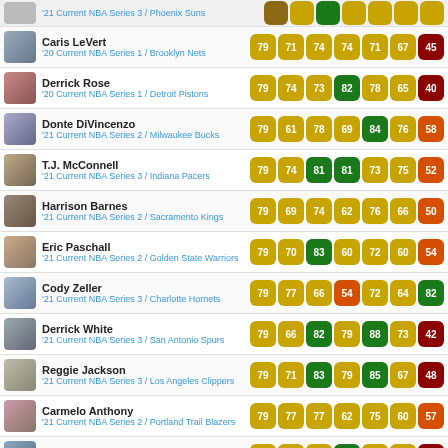| Player | OVR | ATH | SHO | PLA | DEF | REP | VAL |
| --- | --- | --- | --- | --- | --- | --- | --- |
| Caris LeVert '20 Current NBA Series 1 / Brooklyn Nets | 79 | 71 | 74 | 74 | 71 | 67 | 45 |
| Derrick Rose '20 Current NBA Series 1 / Detroit Pistons | 79 | 74 | 73 | 82 | 78 | 65 | 40 |
| Donte DiVincenzo '21 Current NBA Series 2 / Milwaukee Bucks | 79 | 61 | 78 | 69 | 84 | 76 | 58 |
| T.J. McConnell '21 Current NBA Series 3 / Indiana Pacers | 79 | 74 | 81 | 81 | 73 | 75 | 52 |
| Harrison Barnes '21 Current NBA Series 2 / Sacramento Kings | 79 | 69 | 74 | 62 | 76 | 66 | 50 |
| Eric Paschall '21 Current NBA Series 2 / Golden State Warriors | 79 | 70 | 83 | 60 | 72 | 60 | 54 |
| Cody Zeller '21 Current NBA Series 3 / Charlotte Hornets | 79 | 77 | 66 | 54 | 72 | 64 | 82 |
| Derrick White '21 Current NBA Series 3 / San Antonio Spurs | 79 | 66 | 82 | 79 | 88 | 73 | 42 |
| Reggie Jackson '21 Current NBA Series 3 / Los Angeles Clippers | 79 | 71 | 83 | 79 | 85 | 67 | 48 |
| Carmelo Anthony '21 Current NBA Series 2 / Portland Trail Blazers | 79 | 77 | 77 | 62 | 75 | 60 | 57 |
| Goran Dragic '21 Current NBA Series 2 / Miami Heat | 79 | 70 | 79 | 80 | 75 | 66 | 46 |
| Otto Porter '21 Current NBA Series 3 / Orlando Magic | 79 | 67 | 82 | 65 | 68 | 63 | 72 |
| OG Anunoby '21 Current NBA Series 2 / Toronto Raptors | 79 | 57 | 75 | 54 | 76 | 78 | 56 |